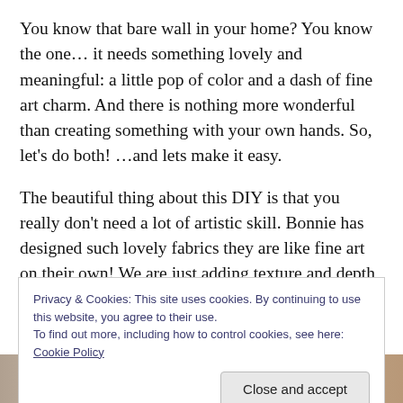You know that bare wall in your home?  You know the one…  it needs something lovely and meaningful: a little pop of color and a dash of fine art charm.  And there is nothing more wonderful than creating something with your own hands.  So, let's do both!  …and lets make it easy.
The beautiful thing about this DIY is that you really don't need a lot of artistic skill.  Bonnie has designed such lovely fabrics they are like fine art on their own!  We are just adding texture and depth with a few well placed brush strokes.  Super simple.
Privacy & Cookies: This site uses cookies. By continuing to use this website, you agree to their use.
To find out more, including how to control cookies, see here: Cookie Policy
[Figure (photo): Partial view of art supplies / paint bottles at the bottom of the page]